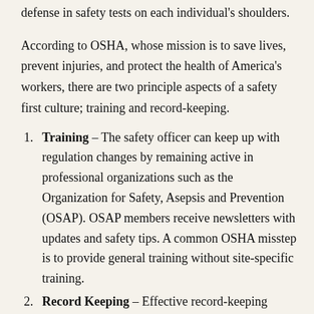defense in safety tests on each individual's shoulders.
According to OSHA, whose mission is to save lives, prevent injuries, and protect the health of America's workers, there are two principle aspects of a safety first culture; training and record-keeping.
Training – The safety officer can keep up with regulation changes by remaining active in professional organizations such as the Organization for Safety, Asepsis and Prevention (OSAP). OSAP members receive newsletters with updates and safety tips. A common OSHA misstep is to provide general training without site-specific training.
Record Keeping – Effective record-keeping includes documenting annual training, new employee training, monthly safety meetings and